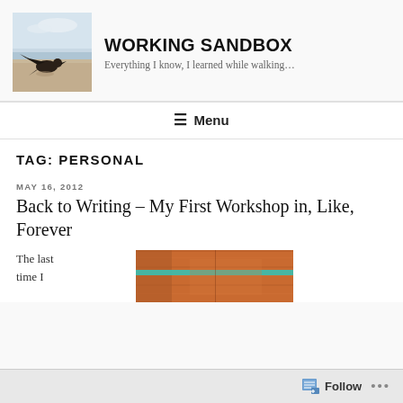[Figure (photo): Blog logo photo showing a bird on a beach with sandy shoreline and sky, desaturated/vintage style]
WORKING SANDBOX
Everything I know, I learned while walking…
≡ Menu
TAG: PERSONAL
MAY 16, 2012
Back to Writing – My First Workshop in, Like, Forever
The last time I
[Figure (photo): Partial photo showing what appears to be wooden objects, warm orange/red tones with a teal stripe]
Follow …